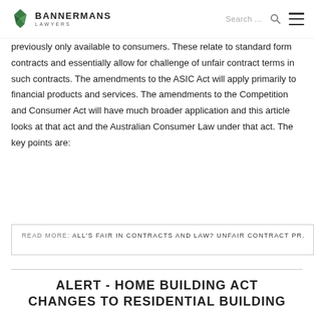BANNERMANS LAWYERS
previously only available to consumers. These relate to standard form contracts and essentially allow for challenge of unfair contract terms in such contracts. The amendments to the ASIC Act will apply primarily to financial products and services. The amendments to the Competition and Consumer Act will have much broader application and this article looks at that act and the Australian Consumer Law under that act. The key points are:
READ MORE: ALL'S FAIR IN CONTRACTS AND LAW? UNFAIR CONTRACT PR...
ALERT - HOME BUILDING ACT CHANGES TO RESIDENTIAL BUILDING